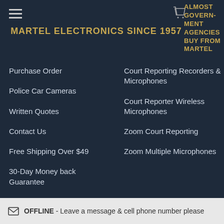MARTEL ELECTRONICS SINCE 1957
ALMOST GOVERNMENT AGENCIES BUY FROM MARTEL
Purchase Order
Police Car Cameras
Written Quotes
Contact Us
Free Shipping Over $49
30-Day Money back Guarantee
Sitemap
Court Reporting Recorders & Microphones
Court Reporter Wireless Microphones
Zoom Court Reporting
Zoom Multiple Microphones
OFFLINE - Leave a message & cell phone number please